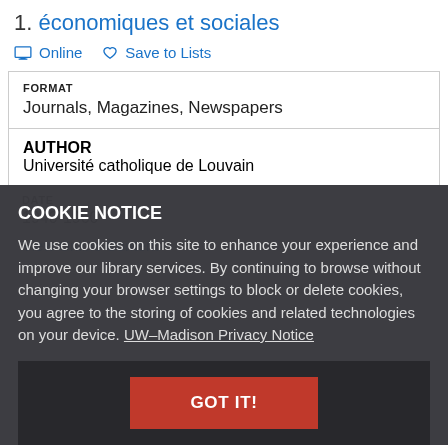1. économiques et sociales
Online   Save to Lists
| FORMAT |
| --- |
| Journals, Magazines, Newspapers |
| AUTHOR |
| --- |
| Université catholique de Louvain |
DATE
1940-1960
View Online Content
COOKIE NOTICE
We use cookies on this site to enhance your experience and improve our library services. By continuing to browse without changing your browser settings to block or delete cookies, you agree to the storing of cookies and related technologies on your device. UW–Madison Privacy Notice
GOT IT!